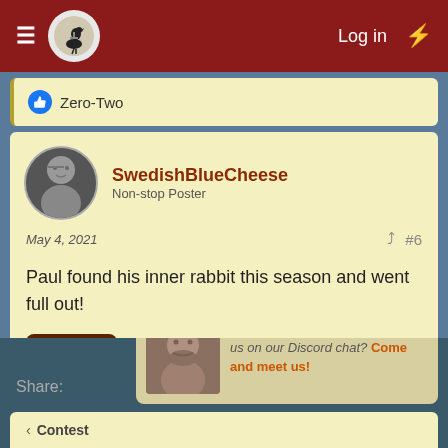Log in
Zero-Two
SwedishBlueCheese
Non-stop Poster
May 4, 2021  #6
Paul found his inner rabbit this season and went full out!
Spoiler
Not open for further replies.
Share:
Did you know you can also visit us on our Discord chat? Come and meet us!
Contest